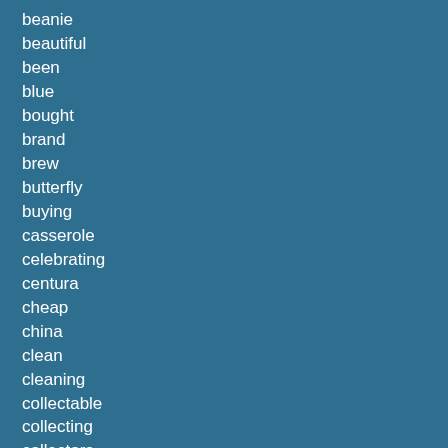beanie
beautiful
been
blue
bought
brand
brew
butterfly
buying
casserole
celebrating
centura
cheap
china
clean
cleaning
collectable
collecting
collectors
come
cook
cooking
corelle